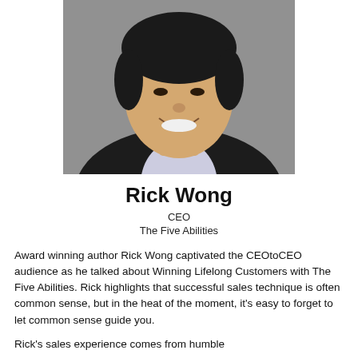[Figure (photo): Headshot portrait of Rick Wong, a smiling Asian man in a dark suit jacket with a light shirt, photographed against a grey background.]
Rick Wong
CEO
The Five Abilities
Award winning author Rick Wong captivated the CEOtoCEO audience as he talked about Winning Lifelong Customers with The Five Abilities. Rick highlights that successful sales technique is often common sense, but in the heat of the moment, it's easy to forget to let common sense guide you.
Rick's sales experience comes from humble